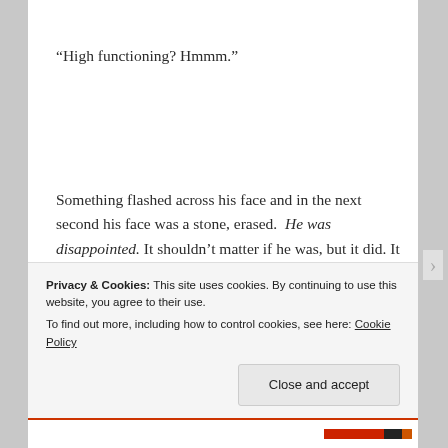“High functioning? Hmmm.”
Something flashed across his face and in the next second his face was a stone, erased. He was disappointed. It shouldn’t matter if he was, but it did. It was confusing, but she felt nudged by her compulsion. She drew in a breath to explain. This
Privacy & Cookies: This site uses cookies. By continuing to use this website, you agree to their use.
To find out more, including how to control cookies, see here: Cookie Policy